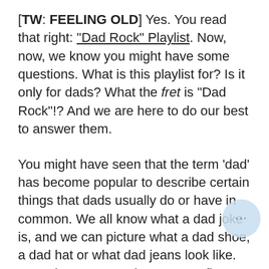[TW: FEELING OLD] Yes. You read that right: "Dad Rock" Playlist. Now, now, we know you might have some questions. What is this playlist for? Is it only for dads? What the fret is "Dad Rock"!? And we are here to do our best to answer them.
You might have seen that the term 'dad' has become popular to describe certain things that dads usually do or have in common. We all know what a dad joke is, and we can picture what a dad shoe, a dad hat or what dad jeans look like. See where we're going? So our first guess is that "Dad Rock"